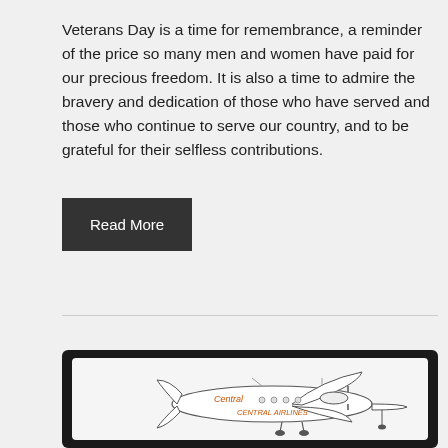Veterans Day is a time for remembrance, a reminder of the price so many men and women have paid for our precious freedom. It is also a time to admire the bravery and dedication of those who have served and those who continue to serve our country, and to be grateful for their selfless contributions.
Read More
[Figure (photo): A vintage Central Airlines airplane illustration on a dark background, showing a propeller aircraft with 'Central' written on the fuselage and 'Central Airlines' written below the windows.]